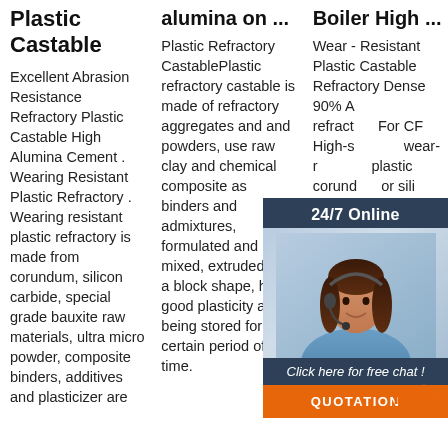Plastic Castable
Excellent Abrasion Resistance Refractory Plastic Castable High Alumina Cement . Wearing Resistant Plastic Refractory . Wearing resistant plastic refractory is made from corundum, silicon carbide, special grade bauxite raw materials, ultra micro powder, composite binders, additives and plasticizer are
alumina on ...
Plastic Refractory CastablePlastic refractory castable is made of refractory aggregates and and powders, use raw clay and chemical composite as binders and admixtures, formulated and mixed, extruded into a block shape, have good plasticity after being stored for a certain period of time.
Boiler High ...
Wear - Resistant Plastic Castable Refractory Dense 90% A refractory For CF High-s wear-r plastic corund or sili and ot grade materia main raw material, added with binder, and additive by mixing, extrusion into adobe shape which still has
[Figure (photo): Chat widget overlay showing a customer service representative with headset, dark blue background with '24/7 Online' header, 'Click here for free chat!' text, and an orange QUOTATION button]